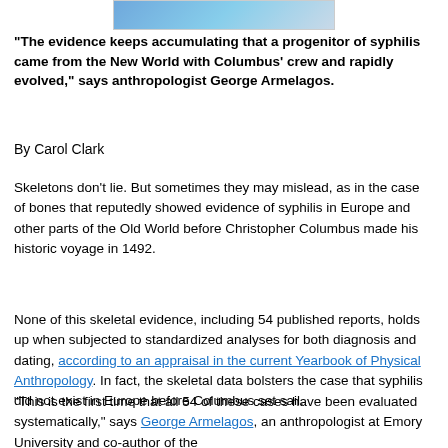[Figure (photo): Partial image of a historical or nature photograph at the top of the page, showing a sky/blue toned scene]
"The evidence keeps accumulating that a progenitor of syphilis came from the New World with Columbus' crew and rapidly evolved," says anthropologist George Armelagos.
By Carol Clark
Skeletons don’t lie. But sometimes they may mislead, as in the case of bones that reputedly showed evidence of syphilis in Europe and other parts of the Old World before Christopher Columbus made his historic voyage in 1492.
None of this skeletal evidence, including 54 published reports, holds up when subjected to standardized analyses for both diagnosis and dating, according to an appraisal in the current Yearbook of Physical Anthropology. In fact, the skeletal data bolsters the case that syphilis did not exist in Europe before Columbus set sail.
“This is the first time that all 54 of these cases have been evaluated systematically,” says George Armelagos, an anthropologist at Emory University and co-author of the